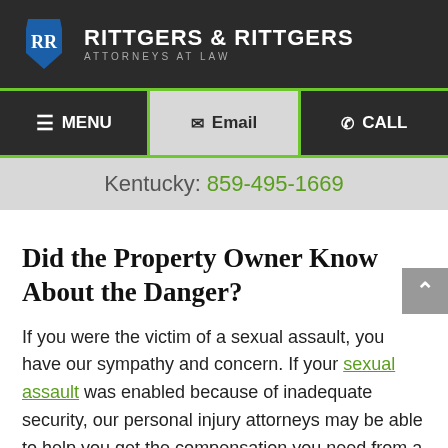RITTGERS & RITTGERS ATTORNEYS AT LAW
MENU | Email | CALL
Kentucky: 859-495-1669
Did the Property Owner Know About the Danger?
If you were the victim of a sexual assault, you have our sympathy and concern. If your sexual assault was enabled because of inadequate security, our personal injury attorneys may be able to help you get the compensation you need from a negligent